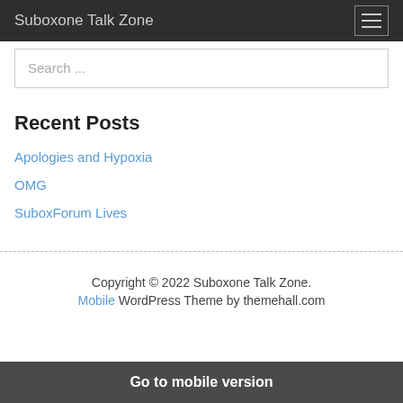Suboxone Talk Zone
Search ...
Recent Posts
Apologies and Hypoxia
OMG
SuboxForum Lives
Copyright © 2022 Suboxone Talk Zone. Mobile WordPress Theme by themehall.com
Go to mobile version